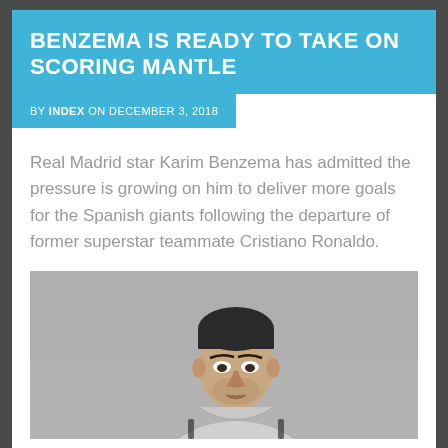BENZEMA IS READY TO TAKE ON SCORING MANTLE
BY INDEX ON DECEMBER 3, 2018
Real Madrid star Karim Benzema has admitted the pressure is growing on him to deliver more goals for the Spanish giants following the departure of former superstar teammate Cristiano Ronaldo.
[Figure (photo): Photo of a male footballer (Cristiano Ronaldo) in a grey training kit, shown from upper body, with short dark hair, looking slightly downward.]